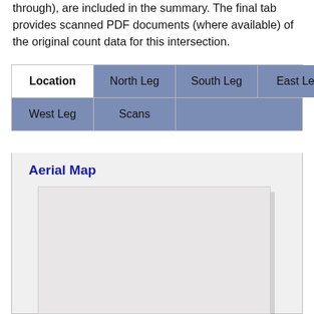through), are included in the summary. The final tab provides scanned PDF documents (where available) of the original count data for this intersection.
| Location | North Leg | South Leg | East Leg | West Leg | Scans |
| --- | --- | --- | --- | --- | --- |
Aerial Map
[Figure (map): Aerial map placeholder showing a blank light gray map area]